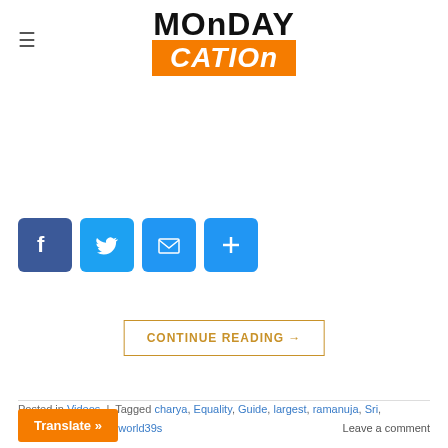MONDAY CATION
He was an Indian Theologian and a social reformer. Bhakti movement as its philosophical foundations. He was an ideal catalyst for the propagation of equality throughout [...]
[Figure (infographic): Social share icons: Facebook, Twitter, Email, Plus]
CONTINUE READING →
Posted in Videos | Tagged charya, Equality, Guide, largest, ramanuja, Sri, statue, Travel, Vlog, world39s   Leave a comment
VIDEOS
Krishna Telugu Full Film | Ravi Teja, Trisha, Brahmanandam | Sri Balaji Video
Translate »